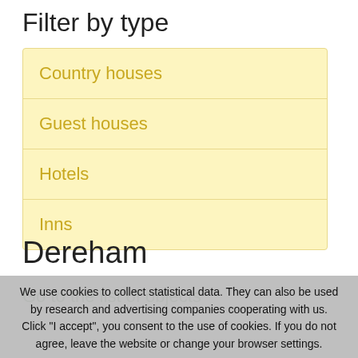Filter by type
Country houses
Guest houses
Hotels
Inns
Dereham
We use cookies to collect statistical data. They can also be used by research and advertising companies cooperating with us. Click "I accept", you consent to the use of cookies. If you do not agree, leave the website or change your browser settings.
I accept